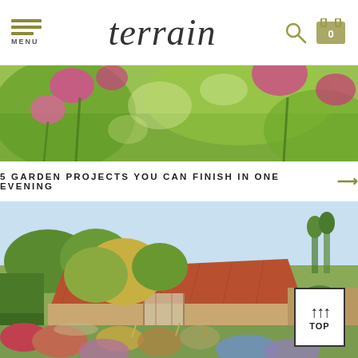MENU | terrain | [search icon] [cart icon: 0]
[Figure (photo): Close-up of pink flowers and green stems, blurred bokeh background]
5 GARDEN PROJECTS YOU CAN FINISH IN ONE EVENING →
[Figure (photo): Landscape photo of a rustic farm building with a red tiled roof, surrounded by trees and a cottage garden with colorful wildflowers and ornamental grasses in the foreground]